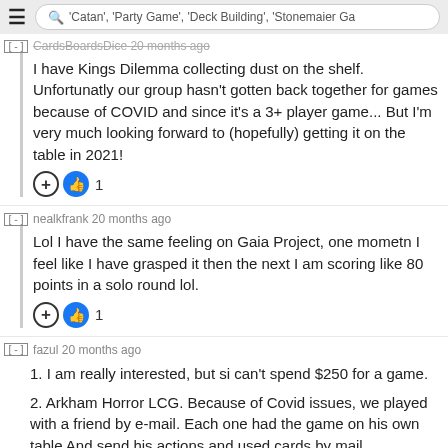'Catan', 'Party Game', 'Deck Building', 'Stonemaier Ga'
CardsBoardsDice 20 months ago
I have Kings Dilemma collecting dust on the shelf. Unfortunatly our group hasn't gotten back together for games because of COVID and since it's a 3+ player game... But I'm very much looking forward to (hopefully) getting it on the table in 2021!
nealkfrank 20 months ago
Lol I have the same feeling on Gaia Project, one mometn I feel like I have grasped it then the next I am scoring like 80 points in a solo round lol.
fazul 20 months ago
1. I am really interested, but si can't spend $250 for a game.
2. Arkham Horror LCG. Because of Covid issues, we played with a friend by e-mail. Each one had the game on his own table And send his actions and used cards by mail.